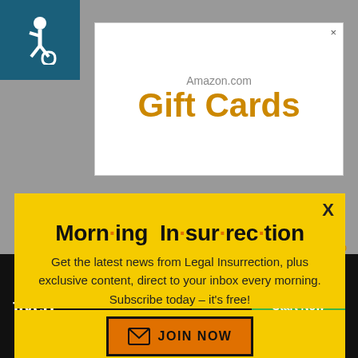[Figure (screenshot): Accessibility wheelchair icon in teal/dark blue square, top-left corner]
[Figure (screenshot): Amazon.com Gift Cards advertisement banner with close X button, gray text 'Amazon.com' and orange bold 'Gift Cards']
Morn·ing In·sur·rec·tion
Get the latest news from Legal Insurrection, plus exclusive content, direct to your inbox every morning. Subscribe today – it's free!
[Figure (infographic): Orange button with envelope icon and text JOIN NOW, dark border]
[Figure (screenshot): Bottom dark bar with white X close button, 'Back to top' text in orange, Fiverr logo in white, and green 'Start Now' button]